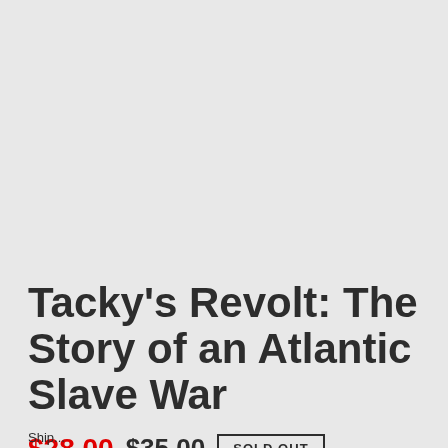Tacky's Revolt: The Story of an Atlantic Slave War
$28.00  $35.00  SOLD OUT
Ship...